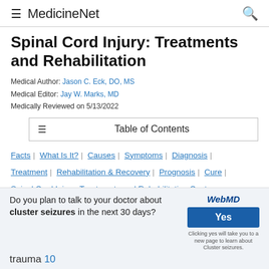≡ MedicineNet 🔍
Spinal Cord Injury: Treatments and Rehabilitation
Medical Author: Jason C. Eck, DO, MS
Medical Editor: Jay W. Marks, MD
Medically Reviewed on 5/13/2022
≡ Table of Contents
Facts | What Is It? | Causes | Symptoms | Diagnosis | Treatment | Rehabilitation & Recovery | Prognosis | Cure | Spinal Cord Injury: Treatments and Rehabilitation Center
ADVERTISEMENT
Do you plan to talk to your doctor about cluster seizures in the next 30 days?
WebMD Yes — Clicking yes will take you to a new page to learn about Cluster seizures.
trauma 10